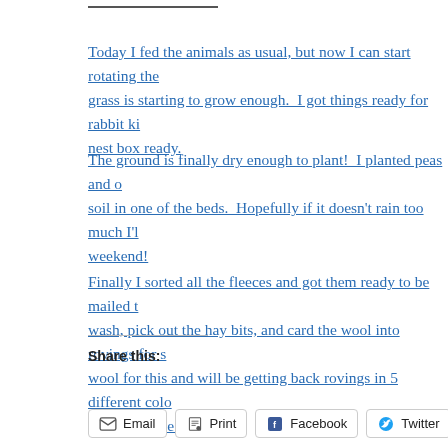Today I fed the animals as usual, but now I can start rotating the grass is starting to grow enough.  I got things ready for rabbit ki nest box ready.
The ground is finally dry enough to plant!  I planted peas and o soil in one of the beds.  Hopefully if it doesn't rain too much I'l weekend!
Finally I sorted all the fleeces and got them ready to be mailed t wash, pick out the hay bits, and card the wool into rovings for s wool for this and will be getting back rovings in 5 different colo back from the mill.
Share this:
Email  Print  Facebook  Twitter